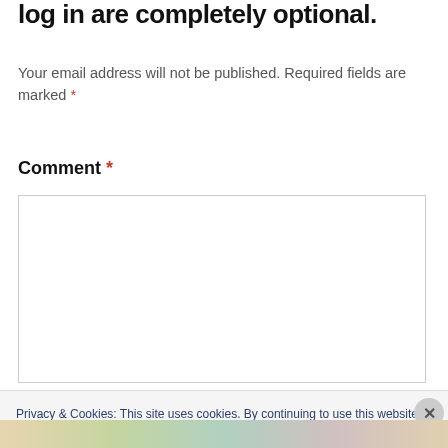log in are completely optional.
Your email address will not be published. Required fields are marked *
Comment *
[Figure (other): Empty comment textarea input box with light grey border]
Privacy & Cookies: This site uses cookies. By continuing to use this website, you agree to their use.
To find out more, including how to control cookies, see here: Cookie Policy
Close and accept